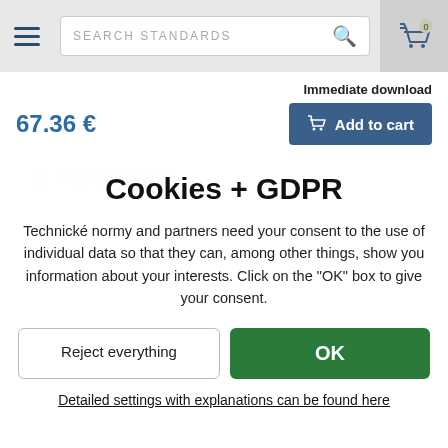SEARCH STANDARDS
Immediate download
67.36 €
Add to cart
Anglicky Hardcopy
Cookies + GDPR
Technické normy and partners need your consent to the use of individual data so that they can, among other things, show you information about your interests. Click on the "OK" box to give your consent.
Reject everything
OK
Detailed settings with explanations can be found here